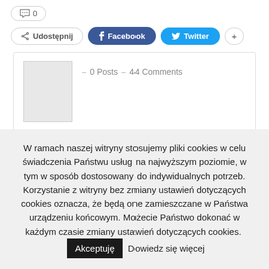[Figure (screenshot): Comment count button showing speech bubble icon and 0]
[Figure (screenshot): Social sharing buttons: Udostępnij (share), Facebook, Twitter, plus button]
[Figure (screenshot): Author card with placeholder avatar image, showing 0 Posts and 44 Comments]
W ramach naszej witryny stosujemy pliki cookies w celu świadczenia Państwu usług na najwyższym poziomie, w tym w sposób dostosowany do indywidualnych potrzeb. Korzystanie z witryny bez zmiany ustawień dotyczących cookies oznacza, że będą one zamieszczane w Państwa urządzeniu końcowym. Możecie Państwo dokonać w każdym czasie zmiany ustawień dotyczących cookies. Akceptuję Dowiedz się więcej